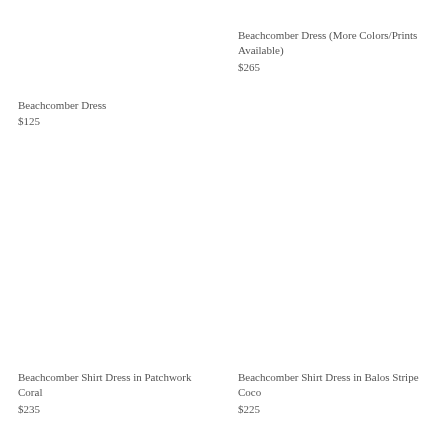Beachcomber Dress (More Colors/Prints Available)
$265
Beachcomber Dress
$125
Beachcomber Shirt Dress in Patchwork Coral
$235
Beachcomber Shirt Dress in Balos Stripe Coco
$225